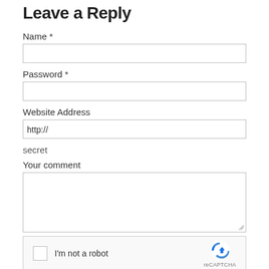Leave a Reply
Name *
[Figure (other): Text input field for Name]
Password *
[Figure (other): Text input field for Password]
Website Address
[Figure (other): Text input field for Website Address with placeholder http://]
secret
Your comment
[Figure (other): Textarea for Your comment]
[Figure (other): reCAPTCHA widget with checkbox labeled I'm not a robot]